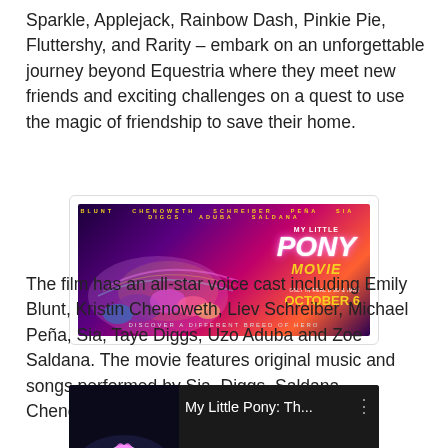Sparkle, Applejack, Rainbow Dash, Pinkie Pie, Fluttershy, and Rarity – embark on an unforgettable journey beyond Equestria where they meet new friends and exciting challenges on a quest to use the magic of friendship to save their home.
[Figure (photo): Movie poster for My Little Pony: The Movie showing colorful pony characters on a vibrant purple/magenta background with the title logo and release date October 6. Tagline: Discover a Different Breed of Hero.]
The film has an all-star voice cast including Emily Blunt, Kristin Chenoweth, Liev Schreiber, Michael Peña, Sia, Taye Diggs, Uzo Aduba and Zoe Saldana. The movie features original music and songs performed by Sia, Diggs, Saldana, Chenoweth and Blunt.
[Figure (screenshot): YouTube video thumbnail showing My Little Pony movie trailer by Lions Gate channel. Title shows 'My Little Pony: Th...' with three-dot menu icon.]